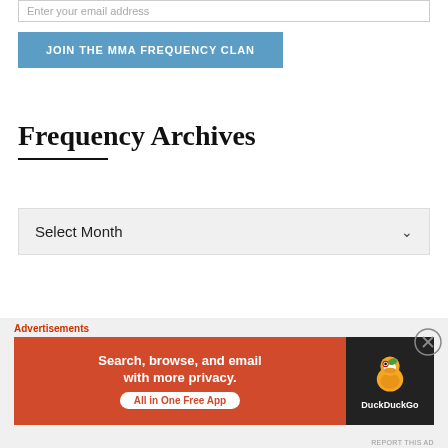Enter your email address
JOIN THE MMA FREQUENCY CLAN
Frequency Archives
Select Month
Translate The Frequency
[Figure (screenshot): DuckDuckGo advertisement banner: 'Search, browse, and email with more privacy. All in One Free App' with DuckDuckGo logo on dark background]
Advertisements
REPORT THIS AD